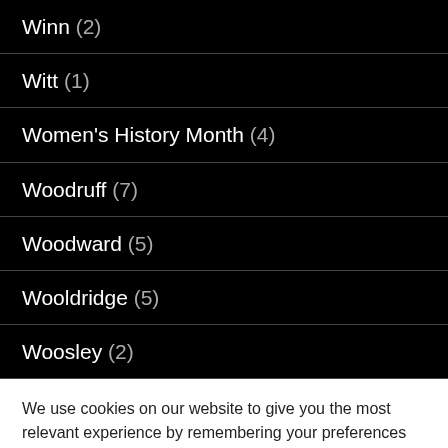Winn (2)
Witt (1)
Women's History Month (4)
Woodruff (7)
Woodward (5)
Wooldridge (5)
Woosley (2)
We use cookies on our website to give you the most relevant experience by remembering your preferences and repeat visits. By clicking “Accept”, you consent to the use of ALL the cookies.
Do not sell my personal information.
Cookie settings  ACCEPT